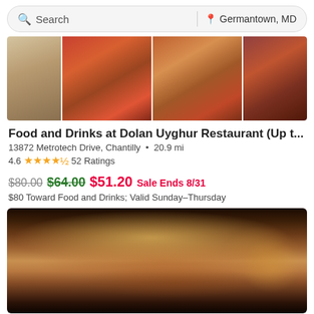Search | Germantown, MD
[Figure (photo): Food images showing dumplings, spicy stir-fried dishes with red peppers and vegetables]
Food and Drinks at Dolan Uyghur Restaurant (Up t...
13872 Metrotech Drive, Chantilly • 20.9 mi
4.6 ★★★★½ 52 Ratings
$80.00 $64.00 $51.20 Sale Ends 8/31
$80 Toward Food and Drinks; Valid Sunday–Thursday
[Figure (photo): Close-up photo of a large burger with bacon, lettuce, tomato, avocado, served with french fries and a dipping sauce]